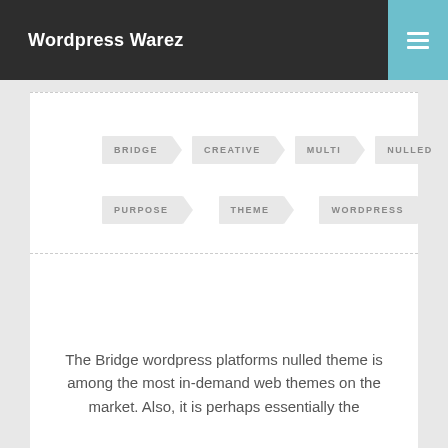Wordpress Warez
BRIDGE
CREATIVE
MULTI
NULLED
PURPOSE
THEME
WORDPRESS
The Bridge wordpress platforms nulled theme is among the most in-demand web themes on the market. Also, it is perhaps essentially the